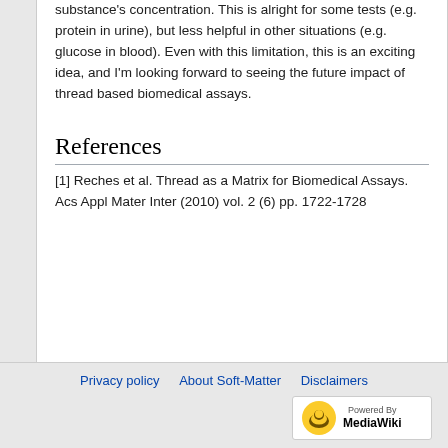substance's concentration. This is alright for some tests (e.g. protein in urine), but less helpful in other situations (e.g. glucose in blood). Even with this limitation, this is an exciting idea, and I'm looking forward to seeing the future impact of thread based biomedical assays.
References
[1] Reches et al. Thread as a Matrix for Biomedical Assays. Acs Appl Mater Inter (2010) vol. 2 (6) pp. 1722-1728
Privacy policy · About Soft-Matter · Disclaimers